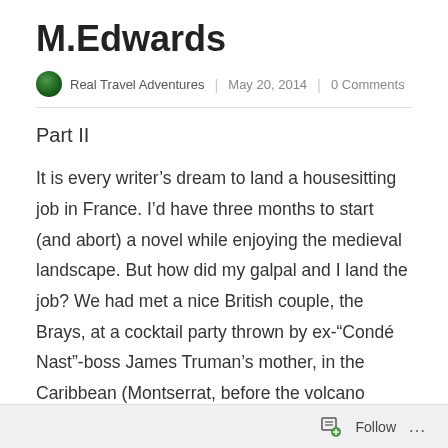M.Edwards
Real Travel Adventures | May 20, 2014 | 0 Comments
Part II
It is every writer’s dream to land a housesitting job in France. I’d have three months to start (and abort) a novel while enjoying the medieval landscape. But how did my galpal and I land the job? We had met a nice British couple, the Brays, at a cocktail party thrown by ex-“Condé Nast”-boss James Truman’s mother, in the Caribbean (Montserrat, before the volcano blew), who said a French hippy was housesitting for them in
Follow ...